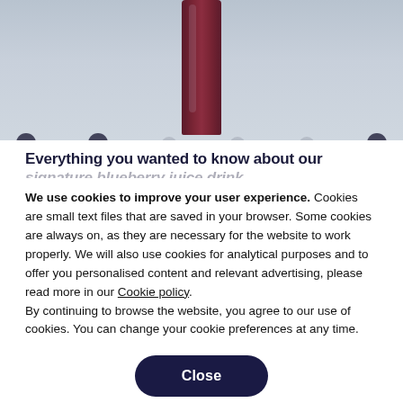[Figure (photo): Partial view of a dark red/maroon drink bottle on a light blue-grey background, with dark circular dots/bottle caps visible along the bottom edge.]
Everything you wanted to know about our signature blueberry juice drink
We use cookies to improve your user experience. Cookies are small text files that are saved in your browser. Some cookies are always on, as they are necessary for the website to work properly. We will also use cookies for analytical purposes and to offer you personalised content and relevant advertising, please read more in our Cookie policy.
By continuing to browse the website, you agree to our use of cookies. You can change your cookie preferences at any time.
Close
Set your cookie preferences